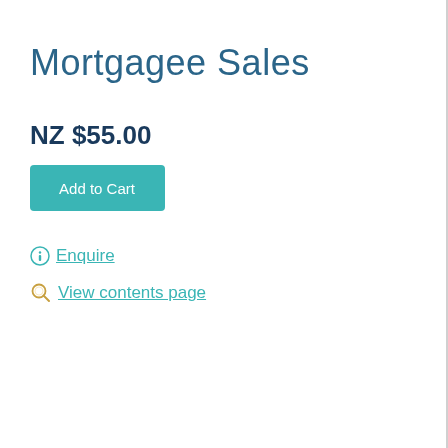Mortgagee Sales
NZ $55.00
[Figure (other): Add to Cart button (teal/green color)]
Enquire
View contents page